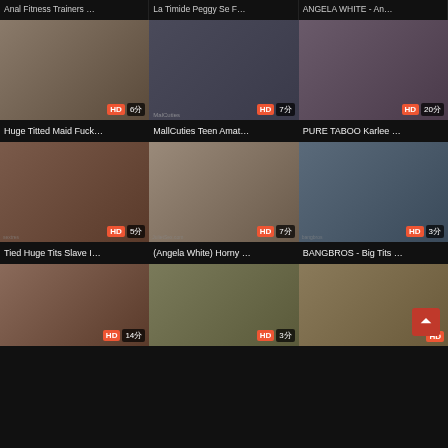[Figure (screenshot): Video thumbnail grid showing adult content video listings with titles, HD badges, and durations. Three columns, four rows of video thumbnails.]